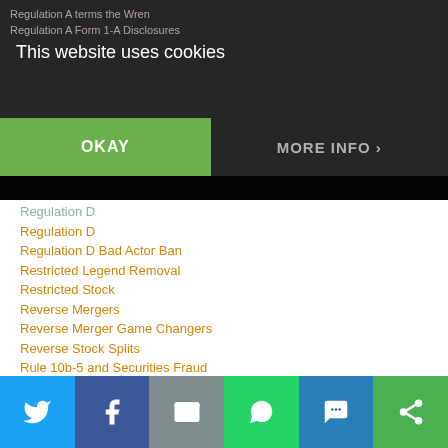This website uses cookies
Regulation D
Regulation D Bad Actor Ban
Restricted Legend Removal
Restricted Stock
Reverse Mergers
Reverse Merger Game Changers
Reverse Stock Splits
Rule 10b-5 and Securities Fraud
Rule 15c-211
Rule 504 Offerings
Rule 506(b) Offerings
Rule 506(c)
Rule 506(c) Covered Persons and Bad Actors
Rule 506(c) State Blue Sky Requirements
Rule 506(c) Offerings
SEC Actions & Administrative Proceedings
SEC Comments
SEC Draft Registration Statements
SEC Form 8-K Filing Requirements (partial)